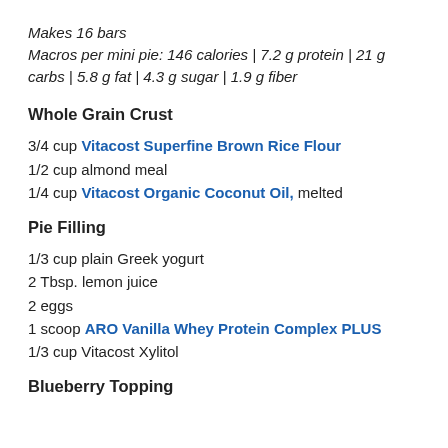Makes 16 bars
Macros per mini pie: 146 calories | 7.2 g protein | 21 g carbs | 5.8 g fat | 4.3 g sugar | 1.9 g fiber
Whole Grain Crust
3/4 cup Vitacost Superfine Brown Rice Flour
1/2 cup almond meal
1/4 cup Vitacost Organic Coconut Oil, melted
Pie Filling
1/3 cup plain Greek yogurt
2 Tbsp. lemon juice
2 eggs
1 scoop ARO Vanilla Whey Protein Complex PLUS
1/3 cup Vitacost Xylitol
Blueberry Topping